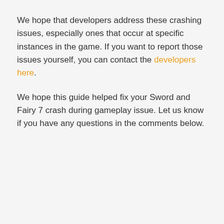We hope that developers address these crashing issues, especially ones that occur at specific instances in the game. If you want to report those issues yourself, you can contact the developers here.
We hope this guide helped fix your Sword and Fairy 7 crash during gameplay issue. Let us know if you have any questions in the comments below.